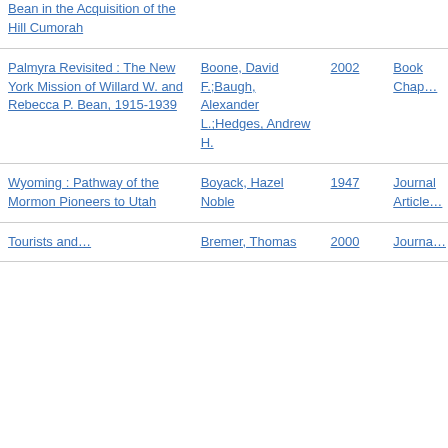| Title | Author | Year | Type |
| --- | --- | --- | --- |
| Bean in the Acquisition of the Hill Cumorah |  |  |  |
| Palmyra Revisited : The New York Mission of Willard W. and Rebecca P. Bean, 1915-1939 | Boone, David F.;Baugh, Alexander L.;Hedges, Andrew H. | 2002 | Book Chap… |
| Wyoming : Pathway of the Mormon Pioneers to Utah | Boyack, Hazel Noble | 1947 | Journal Article… |
| Tourists and… | Bremer, Thomas | 2000 | Journa… |